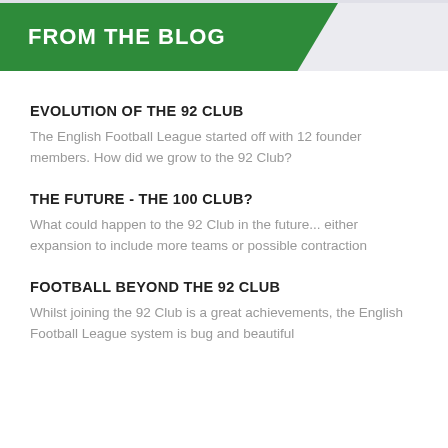FROM THE BLOG
EVOLUTION OF THE 92 CLUB
The English Football League started off with 12 founder members. How did we grow to the 92 Club?
THE FUTURE - THE 100 CLUB?
What could happen to the 92 Club in the future... either expansion to include more teams or possible contraction
FOOTBALL BEYOND THE 92 CLUB
Whilst joining the 92 Club is a great achievements, the English Football League system is bug and beautiful